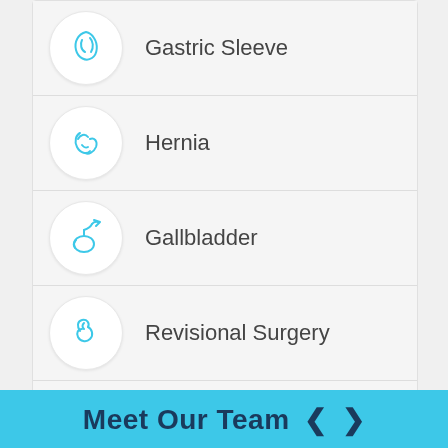Gastric Sleeve
Hernia
Gallbladder
Revisional Surgery
General Surgery
Meet Our Team ❮ ❯